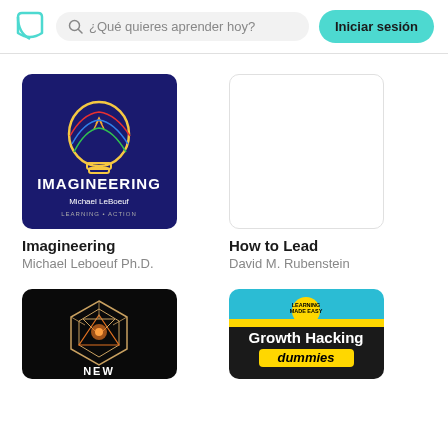[Figure (screenshot): App header with teal book logo, search bar with placeholder text '¿Qué quieres aprender hoy?', and teal 'Iniciar sesión' button]
[Figure (illustration): Book cover for Imagineering by Michael LeBoeuf - dark blue background with colorful lightbulb illustration]
Imagineering
Michael Leboeuf Ph.D.
[Figure (illustration): Book cover for How to Lead - blank/loading white square]
How to Lead
David M. Rubenstein
[Figure (illustration): Book cover with dark/black background showing geometric hexagon pattern and 'NEW' text at bottom]
[Figure (illustration): Book cover for Growth Hacking for Dummies - yellow and black Dummies series cover]